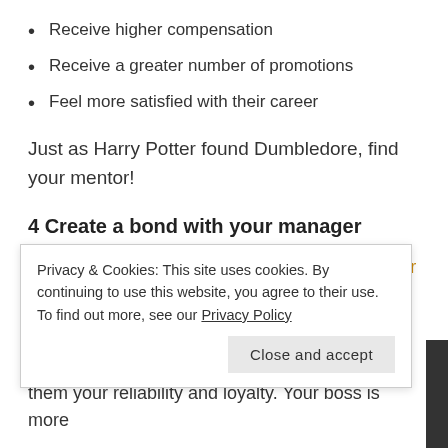Receive higher compensation
Receive a greater number of promotions
Feel more satisfied with their career
Just as Harry Potter found Dumbledore, find your mentor!
4 Create a bond with your manager
Not only will having a good relationship with your
Privacy & Cookies: This site uses cookies. By continuing to use this website, you agree to their use. To find out more, see our Privacy Policy
them your reliability and loyalty. Your boss is more